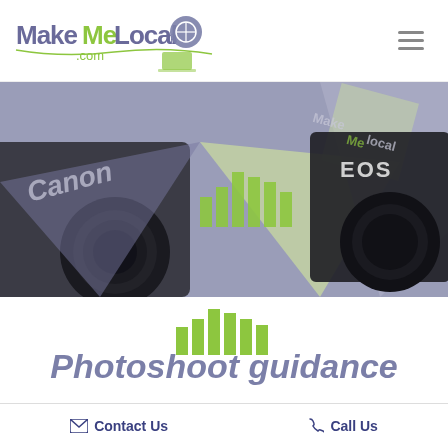[Figure (logo): MakeMeLocal.com logo with stylized text and globe/pin icon]
[Figure (photo): Hero banner image showing Canon EOS cameras with MakeMeLocal branding overlaid on geometric shapes in green, grey and purple tones]
Photoshoot guidance
Arrange your free consultation
Your customers are online – call us on 0800 772 0022 to
Contact Us   Call Us